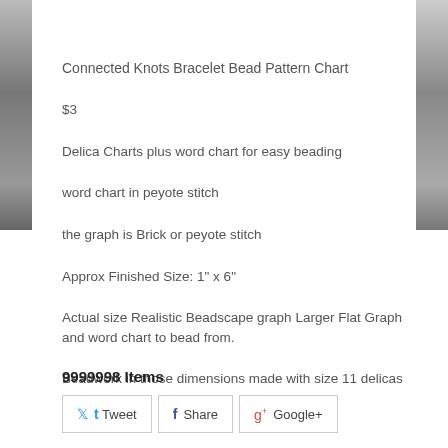Connected Knots Bracelet Bead Pattern Chart
$3
Delica Charts plus word chart for easy beading
word chart in peyote stitch
the graph is Brick or peyote stitch
Approx Finished Size: 1" x 6"
Actual size Realistic Beadscape graph Larger Flat Graph and word chart to bead from.
Beadwork in those dimensions made with size 11 delicas
3 colors
8 pages to print
9999998 Items
Tweet   Share   Google+